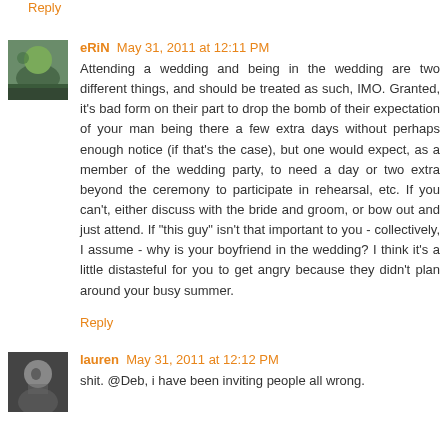Reply
eRiN  May 31, 2011 at 12:11 PM
Attending a wedding and being in the wedding are two different things, and should be treated as such, IMO. Granted, it's bad form on their part to drop the bomb of their expectation of your man being there a few extra days without perhaps enough notice (if that's the case), but one would expect, as a member of the wedding party, to need a day or two extra beyond the ceremony to participate in rehearsal, etc. If you can't, either discuss with the bride and groom, or bow out and just attend. If "this guy" isn't that important to you - collectively, I assume - why is your boyfriend in the wedding? I think it's a little distasteful for you to get angry because they didn't plan around your busy summer.
Reply
lauren  May 31, 2011 at 12:12 PM
shit. @Deb, i have been inviting people all wrong.